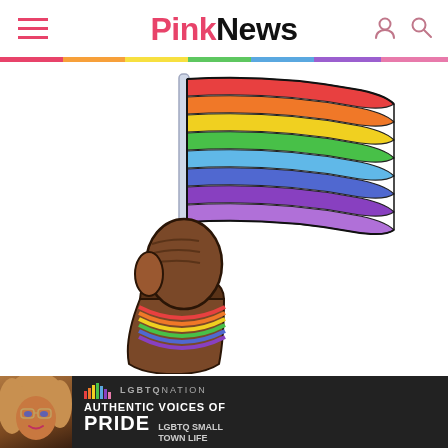PinkNews
[Figure (illustration): A dark-skinned hand holding a flagpole with a rainbow pride flag waving, wearing a rainbow wristband. Illustrated in a bold cartoon style on a white background.]
[Figure (photo): LGBTQ Nation advertisement banner with dark background. Shows a person with big curly hair and glamorous makeup on the left. Text reads: LGBTQ NATION — AUTHENTIC VOICES OF PRIDE — LGBTQ SMALL TOWN LIFE, with colorful bar chart icon.]